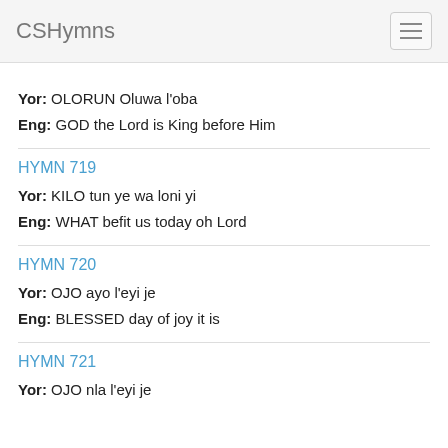CSHymns
Yor: OLORUN Oluwa l'oba
Eng: GOD the Lord is King before Him
HYMN 719
Yor: KILO tun ye wa loni yi
Eng: WHAT befit us today oh Lord
HYMN 720
Yor: OJO ayo l'eyi je
Eng: BLESSED day of joy it is
HYMN 721
Yor: OJO nla l'eyi je